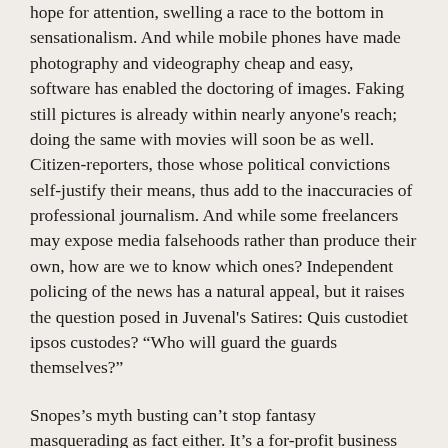hope for attention, swelling a race to the bottom in sensationalism. And while mobile phones have made photography and videography cheap and easy, software has enabled the doctoring of images. Faking still pictures is already within nearly anyone's reach; doing the same with movies will soon be as well. Citizen-reporters, those whose political convictions self-justify their means, thus add to the inaccuracies of professional journalism. And while some freelancers may expose media falsehoods rather than produce their own, how are we to know which ones? Independent policing of the news has a natural appeal, but it raises the question posed in Juvenal's Satires: Quis custodiet ipsos custodes? “Who will guard the guards themselves?”
Snopes’s myth busting can’t stop fantasy masquerading as fact either. It’s a for-profit business whose complete reliance on advertising exposes it to the same forces that stoke fakery: Survival requires more web traffic than debunking true urban legends can easily attract. And according to critics, Snopes is biased to the left.
Even worse would be a Snopes-like entity publicly